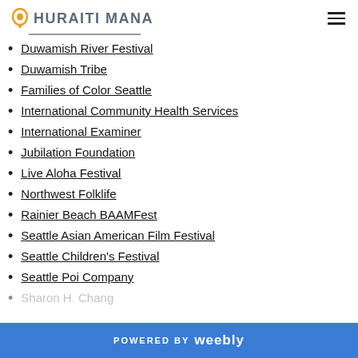HURAITI MANA
Duwamish River Festival
Duwamish Tribe
Families of Color Seattle
International Community Health Services
International Examiner
Jubilation Foundation
Live Aloha Festival
Northwest Folklife
Rainier Beach BAAMFest
Seattle Asian American Film Festival
Seattle Children's Festival
Seattle Poi Company
Sharon H. Chang
POWERED BY weebly